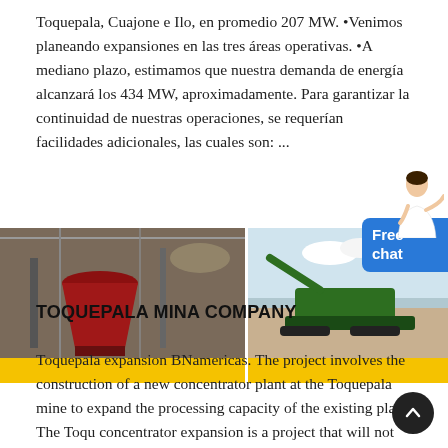Toquepala, Cuajone e Ilo, en promedio 207 MW. •Venimos planeando expansiones en las tres áreas operativas. •A mediano plazo, estimamos que nuestra demanda de energía alcanzará los 434 MW, aproximadamente. Para garantizar la continuidad de nuestras operaciones, se requerían facilidades adicionales, las cuales son: ...
[Figure (photo): Three photos of mining and industrial equipment: a large crusher/mill inside an industrial building, a green mobile screening/crushing machine on a gravel site, and industrial machinery inside a processing facility.]
TOQUEPALA MINA COMPANY
Toquepala expansion BNamericas. The project involves the construction of a new concentrator plant at the Toquepala mine to expand the processing capacity of the existing plant. The Toquepala concentrator expansion is a project that will not require the use of